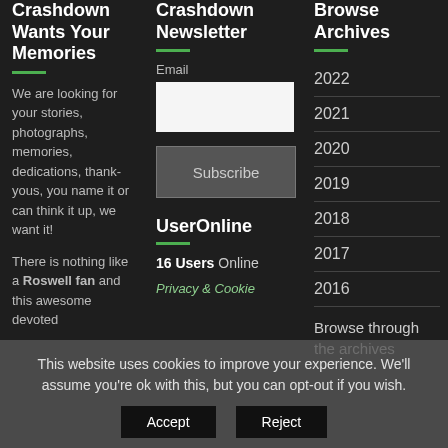Crashdown Wants Your Memories
We are looking for your stories, photographs, memories, dedications, thank-yous, you name it or can think it up, we want it!
There is nothing like a Roswell fan and this awesome devoted
Crashdown Newsletter
Email
Subscribe
UserOnline
16 Users Online
Privacy & Cookie
Browse Archives
2022
2021
2020
2019
2018
2017
2016
Browse through the archives
This website uses cookies to improve your experience. We'll assume you're ok with this, but you can opt-out if you wish.
Accept
Reject